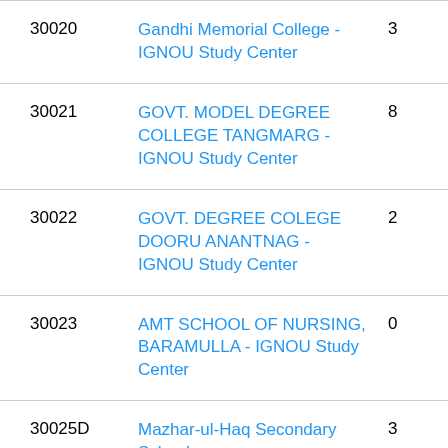| Code | Name | Count |
| --- | --- | --- |
| 30020 | Gandhi Memorial College - IGNOU Study Center | 3 |
| 30021 | GOVT. MODEL DEGREE COLLEGE TANGMARG - IGNOU Study Center | 8 |
| 30022 | GOVT. DEGREE COLEGE DOORU ANANTNAG - IGNOU Study Center | 2 |
| 30023 | AMT SCHOOL OF NURSING, BARAMULLA - IGNOU Study Center | 0 |
| 30025D | Mazhar-ul-Haq Secondary School | 3 |